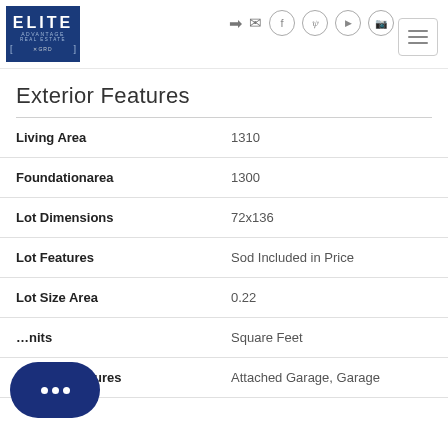[Figure (logo): Elite Advantage Real Estate logo - dark blue square with white text]
Exterior Features
| Feature | Value |
| --- | --- |
| Living Area | 1310 |
| Foundationarea | 1300 |
| Lot Dimensions | 72x136 |
| Lot Features | Sod Included in Price |
| Lot Size Area | 0.22 |
| ...nits | Square Feet |
| Parking Features | Attached Garage, Garage |